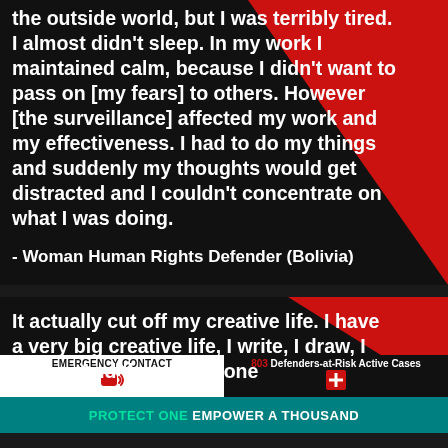the outside world, but I was terribly tired. I almost didn't sleep. In my work I maintained calm, because I didn't want to pass on [my fears] to others. However [the surveillance] affected my work and my effectiveness. I had to do my things and suddenly my thoughts would get distracted and I couldn't concentrate on what I was doing.
- Woman Human Rights Defender (Bolivia)
It actually cut off my creative life. I have a very big creative life, I write, I draw, I dance. And that is all gone
EMERGENCY CONTACT
803 Defenders-at-Risk Active Cases
PROTECT ONE EMPOWER A THOUSAND